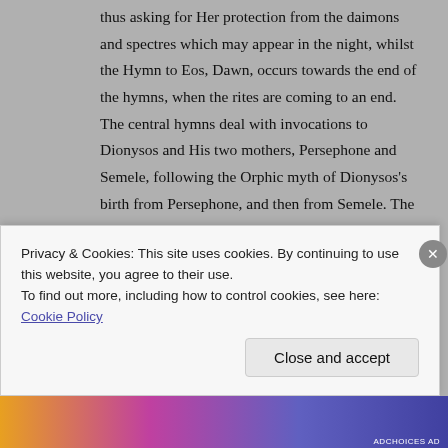thus asking for Her protection from the daimons and spectres which may appear in the night, whilst the Hymn to Eos, Dawn, occurs towards the end of the hymns, when the rites are coming to an end.  The central hymns deal with invocations to Dionysos and His two mothers, Persephone and Semele, following the Orphic myth of Dionysos's birth from Persephone, and then from Semele.   The Orphic hymns ask the divinities to be present and participate in the ritual.  They consist mostly of invocation and the requests of the deities are very general, asking simply for help with the initates life.  Unlike other Ancient prayers they do not contain a central argument, establishing the petitioner's right to receive the help of
Privacy & Cookies: This site uses cookies. By continuing to use this website, you agree to their use.
To find out more, including how to control cookies, see here: Cookie Policy
Close and accept